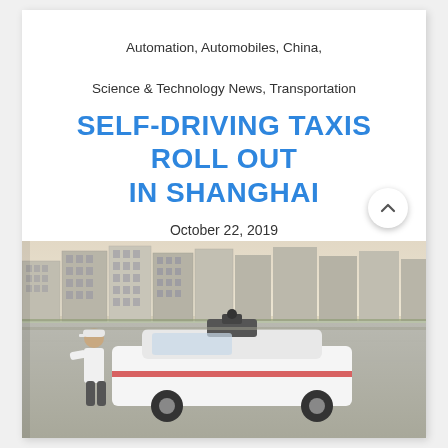Automation, Automobiles, China,
Science & Technology News, Transportation
SELF-DRIVING TAXIS ROLL OUT IN SHANGHAI
October 22, 2019
[Figure (photo): A person standing next to a self-driving taxi vehicle equipped with sensors on the roof, parked in an open area with tall residential buildings in the background, Shanghai.]